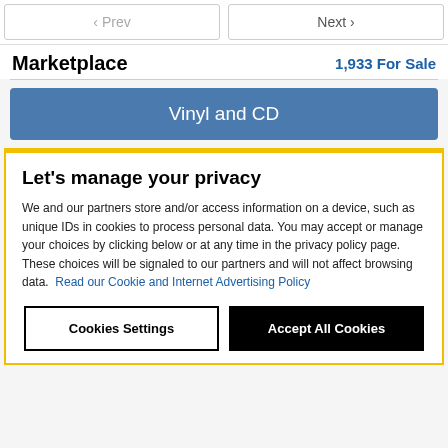[Figure (screenshot): Navigation buttons: left Prev arrow and right Next arrow]
Marketplace   1,933 For Sale
[Figure (screenshot): Blue button labeled Vinyl and CD]
Let's manage your privacy
We and our partners store and/or access information on a device, such as unique IDs in cookies to process personal data. You may accept or manage your choices by clicking below or at any time in the privacy policy page. These choices will be signaled to our partners and will not affect browsing data. Read our Cookie and Internet Advertising Policy
Cookies Settings
Accept All Cookies